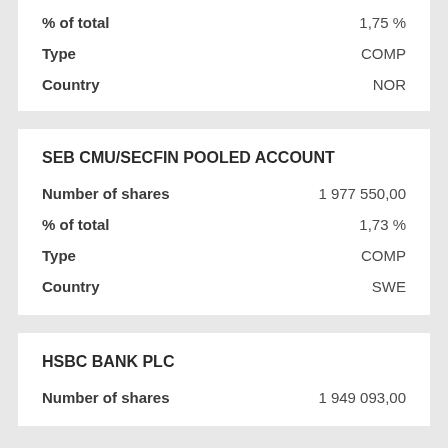| Field | Value |
| --- | --- |
| % of total | 1,75 % |
| Type | COMP |
| Country | NOR |
SEB CMU/SECFIN POOLED ACCOUNT
| Field | Value |
| --- | --- |
| Number of shares | 1 977 550,00 |
| % of total | 1,73 % |
| Type | COMP |
| Country | SWE |
HSBC BANK PLC
| Field | Value |
| --- | --- |
| Number of shares | 1 949 093,00 |